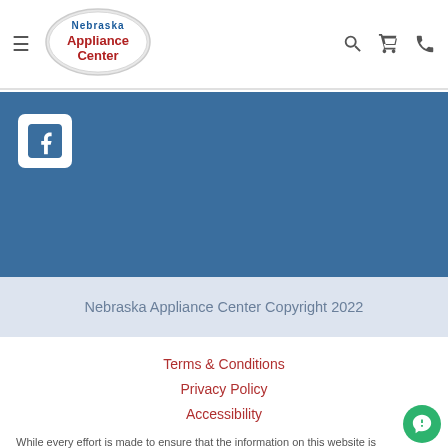[Figure (logo): Nebraska Appliance Center logo in an oval shape with red and blue text]
[Figure (illustration): Blue social media banner with a white Facebook icon square]
Nebraska Appliance Center Copyright 2022
Terms & Conditions
Privacy Policy
Accessibility
While every effort is made to ensure that the information on this website is